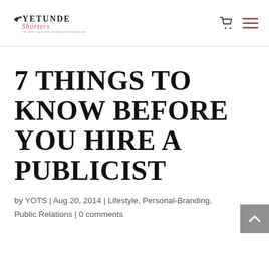Yetunde Shorters — logo, cart icon, menu icon
7 THINGS TO KNOW BEFORE YOU HIRE A PUBLICIST
by YOTS | Aug 20, 2014 | Lifestyle, Personal-Branding, Public Relations | 0 comments